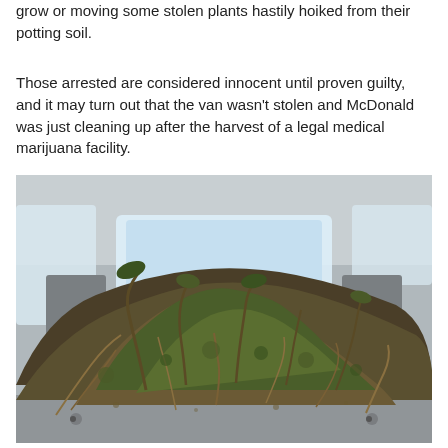grow or moving some stolen plants hastily hoiked from their potting soil.
Those arrested are considered innocent until proven guilty, and it may turn out that the van wasn't stolen and McDonald was just cleaning up after the harvest of a legal medical marijuana facility.
[Figure (photo): Interior view of a van's cargo area from the rear, showing a large pile of uprooted marijuana plants with exposed roots and dried foliage filling the back of the vehicle. The car seats and windshield are visible through the plants in the background.]